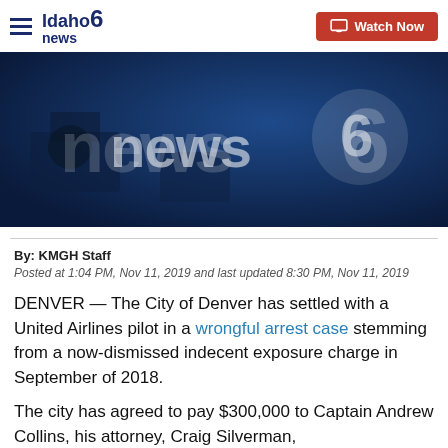Idaho news6 | Watch Now
[Figure (photo): News6 Idaho branded background image in dark blue tones showing studio camera equipment and news6 logo watermark]
By: KMGH Staff
Posted at 1:04 PM, Nov 11, 2019 and last updated 8:30 PM, Nov 11, 2019
DENVER — The City of Denver has settled with a United Airlines pilot in a wrongful arrest case stemming from a now-dismissed indecent exposure charge in September of 2018.
The city has agreed to pay $300,000 to Captain Andrew Collins, his attorney, Craig Silverman,